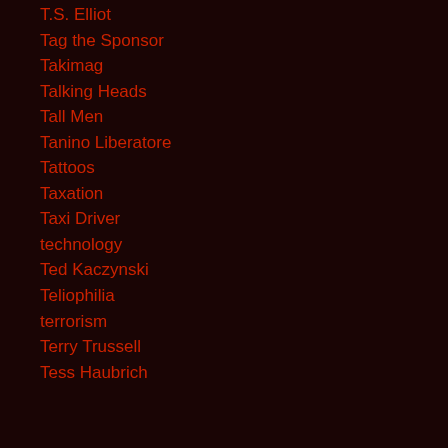T.S. Elliot
Tag the Sponsor
Takimag
Talking Heads
Tall Men
Tanino Liberatore
Tattoos
Taxation
Taxi Driver
technology
Ted Kaczynski
Teliophilia
terrorism
Terry Trussell
Tess Haubrich